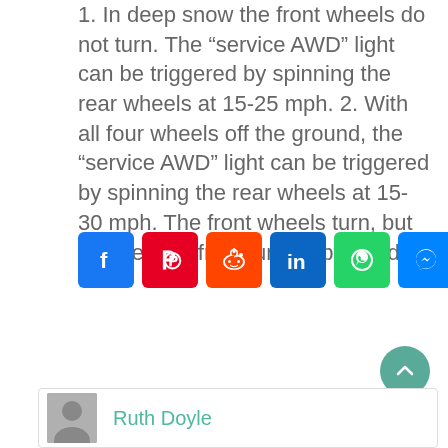1. In deep snow the front wheels do not turn. The “service AWD” light can be triggered by spinning the rear wheels at 15-25 mph. 2. With all four wheels off the ground, the “service AWD” light can be triggered by spinning the rear wheels at 15-30 mph. The front wheels turn, but can be held from turning by hand.
[Figure (infographic): Row of social media share buttons: Facebook, Pinterest, Reddit, LinkedIn, WhatsApp, Messenger, Telegram, Share (plus icon)]
Ruth Doyle